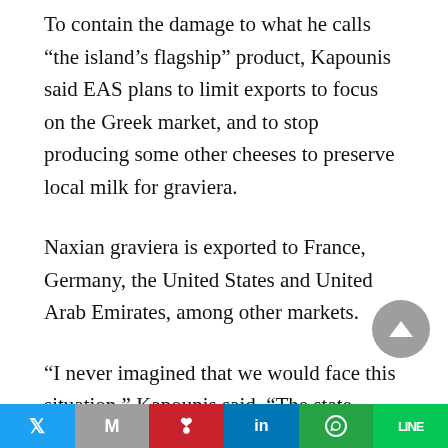To contain the damage to what he calls “the island’s flagship” product, Kapounis said EAS plans to limit exports to focus on the Greek market, and to stop producing some other cheeses to preserve local milk for graviera.
Naxian graviera is exported to France, Germany, the United States and United Arab Emirates, among other markets.
“I never imagined that we would face this situation,” Kapounis said. “The state needs to wake up and support the stock breeders. We are…
[Figure (other): Social share bar with icons for Twitter, Gmail, Pinterest, LinkedIn, WhatsApp, and Line at the bottom of the page]